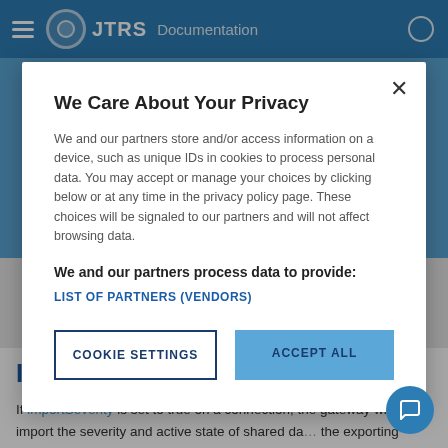JTRS Documentation
We Care About Your Privacy
We and our partners store and/or access information on a device, such as unique IDs in cookies to process personal data. You may accept or manage your choices by clicking below or at any time in the privacy policy page. These choices will be signaled to our partners and will not affect browsing data.
We and our partners process data to provide:
LIST OF PARTNERS (VENDORS)
COOKIE SETTINGS
ACCEPT ALL
Import severity
If importSeverity is set to true on a connection, the gateway will import the severity and active state of shared da... the exporting gateway, and will disable local rule evalu... on shared data from the exporting gateway so that the